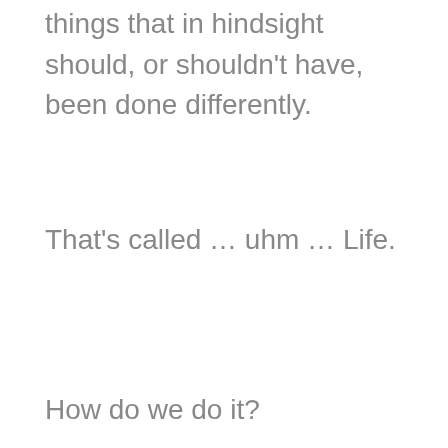things that in hindsight should, or shouldn't have, been done differently.
That's called … uhm … Life.
How do we do it?